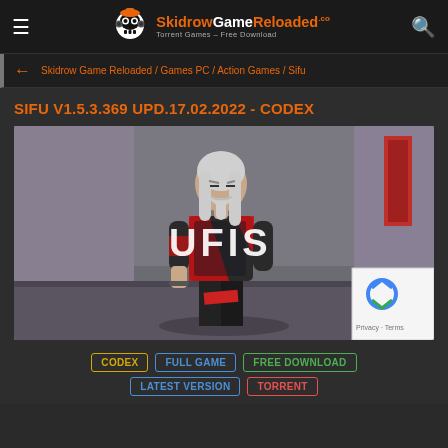SkidrowGameReloaded.co — Torrent Games – Free Download
Skidrow Game Reloaded / Games PC / Action Games / Sifu
SIFU V1.5.3.369 UPD.17.02.2022 - CODEX
[Figure (screenshot): Game cover screenshot showing an elderly Asian martial artist with white hair and beard, wearing a black and red outfit, with the SIFU logo displayed in white text below him. Background shows a grey urban environment.]
CODEX | FULL GAME | FREE DOWNLOAD | LATEST VERSION | TORRENT